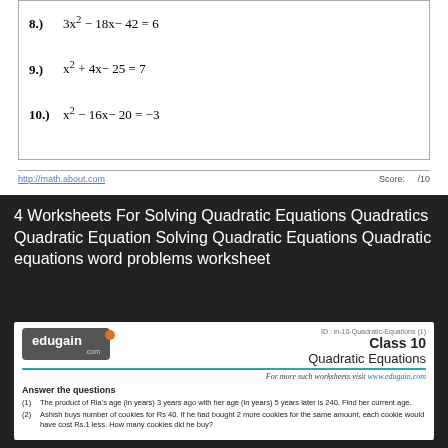http://math.about.com    Score:    /10
4 Worksheets For Solving Quadratic Equations Quadratics Quadratic Equation Solving Quadratic Equations Quadratic equations word problems worksheet
[Figure (other): Edugain worksheet header with logo, class info (Class 10, Quadratic Equations), divider, tagline, section header, and word problems]
Answer the questions
(1) The product of Ria's age (in years) 3 years ago with her age (in years) 5 years later is 240. Find her current age.
(2) Ashish buys number of cookies for Rs 40. If he had bought 2 more cookies for the same amount, each cookie would have cost Rs.1 less. How many cookies did he buy?